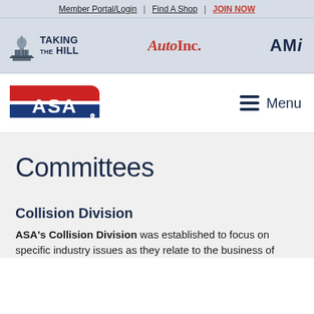Member Portal/Login | Find A Shop | JOIN NOW
[Figure (logo): Header logos: Taking The Hill, AutoInc., AMi]
[Figure (logo): ASA logo with Menu button]
Committees
Collision Division
ASA's Collision Division was established to focus on specific industry issues as they relate to the business of